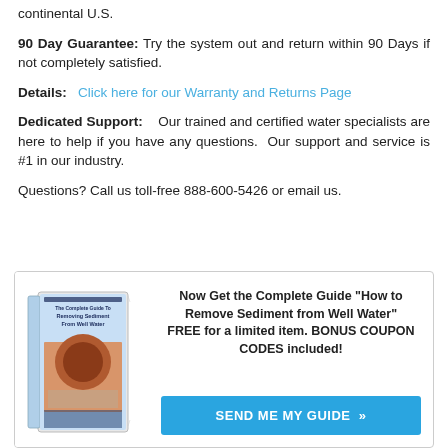continental U.S.
90 Day Guarantee:  Try the system out and return within 90 Days if not completely satisfied.
Details:   Click here for our Warranty and Returns Page
Dedicated Support:    Our trained and certified water specialists are here to help if you have any questions.  Our support and service is #1 in our industry.
Questions? Call us toll-free 888-600-5426 or email us.
[Figure (illustration): Book cover: The Complete Guide to Removing Sediment From Well Water]
Now Get the Complete Guide "How to Remove Sediment from Well Water" FREE for a limited item. BONUS COUPON CODES included!
SEND ME MY GUIDE »